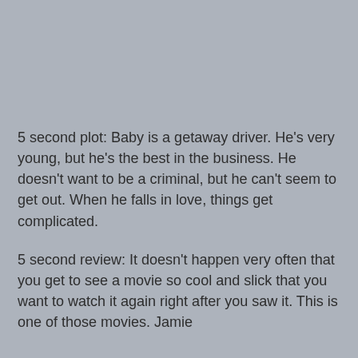[Figure (photo): A large grey/silver rectangular area occupying the upper portion of the page, likely a placeholder or image area.]
5 second plot: Baby is a getaway driver. He's very young, but he's the best in the business. He doesn't want to be a criminal, but he can't seem to get out. When he falls in love, things get complicated.
5 second review: It doesn't happen very often that you get to see a movie so cool and slick that you want to watch it again right after you saw it. This is one of those movies. Jamie